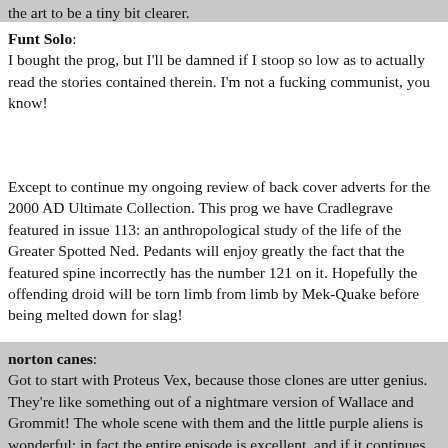the art to be a tiny bit clearer.
Funt Solo: I bought the prog, but I'll be damned if I stoop so low as to actually read the stories contained therein. I'm not a fucking communist, you know!
Except to continue my ongoing review of back cover adverts for the 2000 AD Ultimate Collection. This prog we have Cradlegrave featured in issue 113: an anthropological study of the life of the Greater Spotted Ned. Pedants will enjoy greatly the fact that the featured spine incorrectly has the number 121 on it. Hopefully the offending droid will be torn limb from limb by Mek-Quake before being melted down for slag!
norton canes: Got to start with Proteus Vex, because those clones are utter genius. They're like something out of a nightmare version of Wallace and Grommit! The whole scene with them and the little purple aliens is wonderful; in fact the entire episode is excellent, and if it continues in this vein then perhaps our newly-crowned third-best strip of 2021 (non-Dredd) could move further up the podium in 2022.